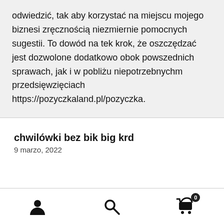odwiedzić, tak aby korzystać na miejscu mojego biznesi zręcznością niezmiernie pomocnych sugestii. To dowód na tek krok, że oszczędzać jest dozwolone dodatkowo obok powszednich sprawach, jak i w pobliżu niepotrzebnychm przedsięwzięciach https://pozyczkaland.pl/pozyczka.
chwilówki bez bik big krd
9 marzo, 2022
[Figure (infographic): Bottom navigation bar with three icons: person/user icon, search/magnifying glass icon, and shopping cart icon with badge showing 0]